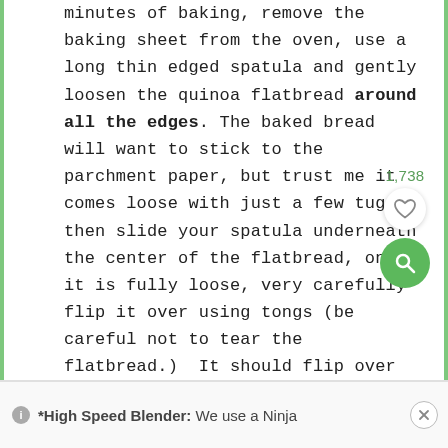minutes of baking, remove the baking sheet from the oven, use a long thin edged spatula and gently loosen the quinoa flatbread around all the edges. The baked bread will want to stick to the parchment paper, but trust me it comes loose with just a few tugs, then slide your spatula underneath the center of the flatbread, once it is fully loose, very carefully flip it over using tongs (be careful not to tear the flatbread.)  It should flip over easily, then return the flatbread to the oven and do the flip-side baking.  Be careful, it's HOT!
*High Speed Blender:  We use a Ninja